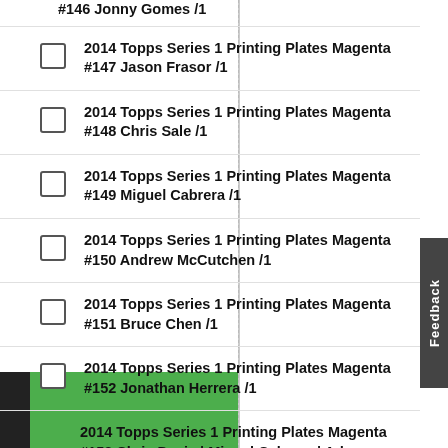2014 Topps Series 1 Printing Plates Magenta #146 Jonny Gomes /1
2014 Topps Series 1 Printing Plates Magenta #147 Jason Frasor /1
2014 Topps Series 1 Printing Plates Magenta #148 Chris Sale /1
2014 Topps Series 1 Printing Plates Magenta #149 Miguel Cabrera /1
2014 Topps Series 1 Printing Plates Magenta #150 Andrew McCutchen /1
2014 Topps Series 1 Printing Plates Magenta #151 Bruce Chen /1
2014 Topps Series 1 Printing Plates Magenta #152 Jonathan Herrera /1
2014 Topps Series 1 Printing Plates Magenta #153 Chris Davis | Miguel Cabrera | Adam Jones /1
2014 Topps Series 1 Printing Plates Magenta